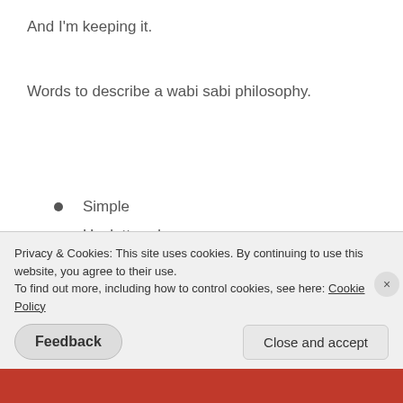And I'm keeping it.
Words to describe a wabi sabi philosophy.
Simple
Uncluttered
Beautiful
Authentic
Slow
Clean
Quiet
Imperfect
Privacy & Cookies: This site uses cookies. By continuing to use this website, you agree to their use. To find out more, including how to control cookies, see here: Cookie Policy
Feedback
Close and accept